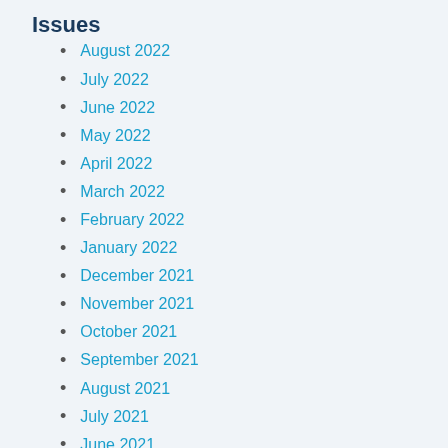Issues
August 2022
July 2022
June 2022
May 2022
April 2022
March 2022
February 2022
January 2022
December 2021
November 2021
October 2021
September 2021
August 2021
July 2021
June 2021
May 2021
April 2021